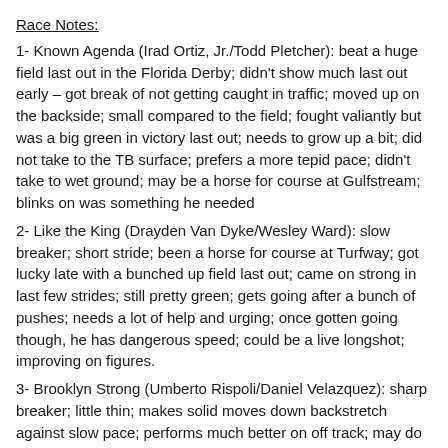Race Notes:
1- Known Agenda (Irad Ortiz, Jr./Todd Pletcher): beat a huge field last out in the Florida Derby; didn't show much last out early – got break of not getting caught in traffic; moved up on the backside; small compared to the field; fought valiantly but was a big green in victory last out; needs to grow up a bit; did not take to the TB surface; prefers a more tepid pace; didn't take to wet ground; may be a horse for course at Gulfstream; blinks on was something he needed
2- Like the King (Drayden Van Dyke/Wesley Ward): slow breaker; short stride; been a horse for course at Turfway; got lucky late with a bunched up field last out; came on strong in last few strides; still pretty green; gets going after a bunch of pushes; needs a lot of help and urging; once gotten going though, he has dangerous speed; could be a live longshot; improving on figures.
3- Brooklyn Strong (Umberto Rispoli/Daniel Velazquez): sharp breaker; little thin; makes solid moves down backstretch against slow pace; performs much better on off track; may do better at longer; ran his race in Wood but not pace of lead pack; no late run last out; working well; may improve second off layoff; right now – no chance